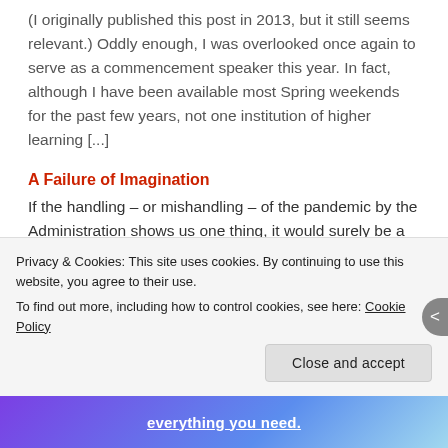(I originally published this post in 2013, but it still seems relevant.) Oddly enough, I was overlooked once again to serve as a commencement speaker this year. In fact, although I have been available most Spring weekends for the past few years, not one institution of higher learning [...]
A Failure of Imagination
If the handling – or mishandling – of the pandemic by the Administration shows us one thing, it would surely be a lack of imagination. The question, "What if?" seems to have been banned from the White House in favor of the petulant "What for?" That seems to [...]
Privacy & Cookies: This site uses cookies. By continuing to use this website, you agree to their use.
To find out more, including how to control cookies, see here: Cookie Policy
Close and accept
everything you need.